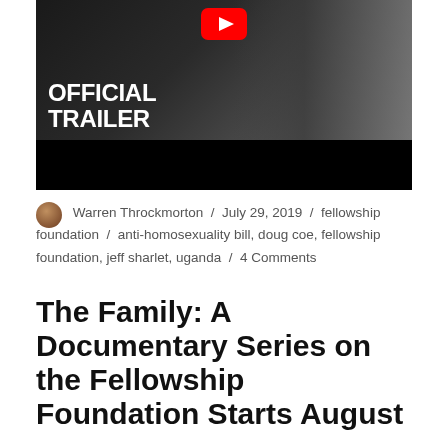[Figure (screenshot): YouTube video thumbnail with dark background showing a man in a suit with hands clasped. Large white bold text reads 'OFFICIAL TRAILER'. Red YouTube play button icon at top center. Black bar at bottom.]
Warren Throckmorton / July 29, 2019 / fellowship foundation / anti-homosexuality bill, doug coe, fellowship foundation, jeff sharlet, uganda / 4 Comments
The Family: A Documentary Series on the Fellowship Foundation Starts August